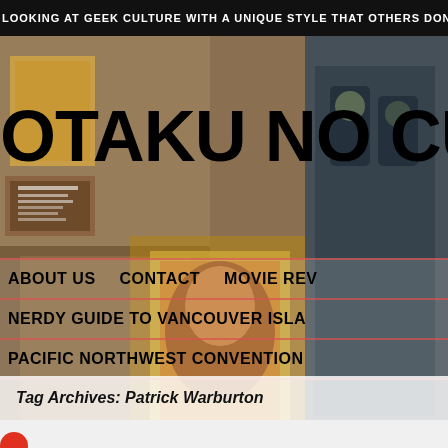LOOKING AT GEEK CULTURE WITH A UNIQUE STYLE THAT OTHERS DON'T ALWAYS
OTAKU NO CULT
ABOUT US   CONTACT   MOVIE REV
NERDY GUIDE TO VANCOUVER ISLA
PACIFIC NORTHWEST CONVENTION
[Figure (photo): Collage background of movie posters, comic books, and action figures]
Tag Archives: Patrick Warburton